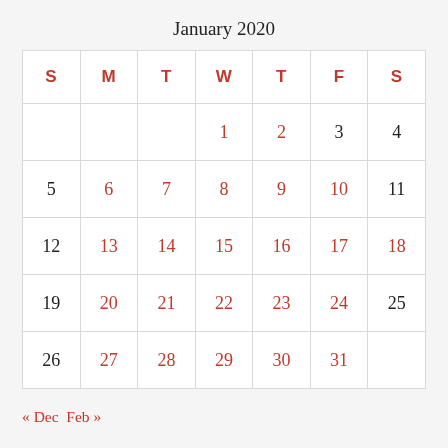January 2020
| S | M | T | W | T | F | S |
| --- | --- | --- | --- | --- | --- | --- |
|  |  |  | 1 | 2 | 3 | 4 |
| 5 | 6 | 7 | 8 | 9 | 10 | 11 |
| 12 | 13 | 14 | 15 | 16 | 17 | 18 |
| 19 | 20 | 21 | 22 | 23 | 24 | 25 |
| 26 | 27 | 28 | 29 | 30 | 31 |  |
« Dec  Feb »